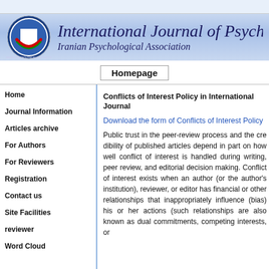[Figure (logo): Iranian Psychological Association circular logo with red swoosh and white square center]
International Journal of Psychology - Iranian Psychological Association
Homepage
Home
Journal Information
Articles archive
For Authors
For Reviewers
Registration
Contact us
Site Facilities
reviewer
Word Cloud
Conflicts of Interest Policy in International Journal
Download the form of Conflicts of Interest Policy
Public trust in the peer-review process and the credibility of published articles depend in part on how well conflict of interest is handled during writing, peer review, and editorial decision making. Conflict of interest exists when an author (or the author’s institution), reviewer, or editor has financial or other relationships that inappropriately influence (bias) his or her actions (such relationships are also known as dual commitments, competing interests, or